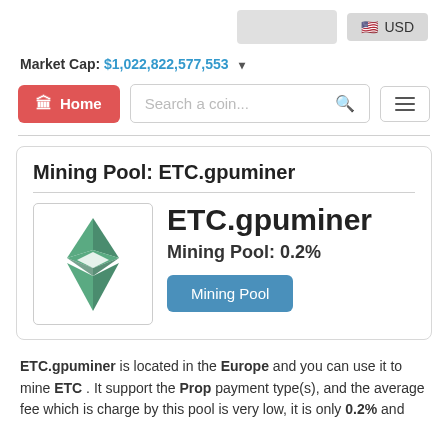USD
Market Cap: $1,022,822,577,553
Home   Search a coin...
Mining Pool: ETC.gpuminer
[Figure (logo): ETC Ethereum Classic green diamond logo]
ETC.gpuminer
Mining Pool: 0.2%
Mining Pool
ETC.gpuminer is located in the Europe and you can use it to mine ETC . It support the Prop payment type(s), and the average fee which is charge by this pool is very low, it is only 0.2% and